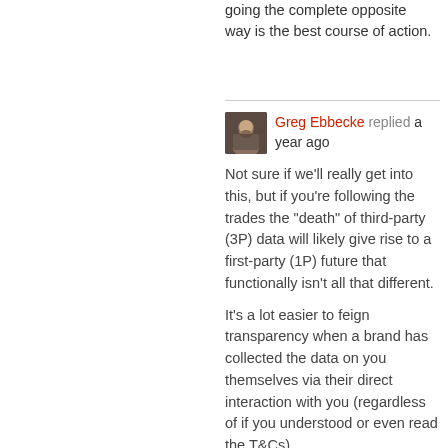going the complete opposite way is the best course of action.
Greg Ebbecke replied a year ago
Not sure if we'll really get into this, but if you're following the trades the "death" of third-party (3P) data will likely give rise to a first-party (1P) future that functionally isn't all that different.
It's a lot easier to feign transparency when a brand has collected the data on you themselves via their direct interaction with you (regardless of if you understood or even read the T&Cs).